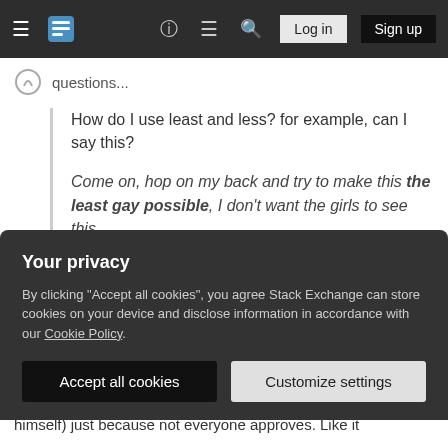Stack Exchange navigation bar with logo, hamburger menu, icons, Log in and Sign up buttons
questions...
How do I use least and less? for example, can I say this?

Come on, hop on my back and try to make this the least gay possible, I don't want the girls to see this.
I'm no great fan of this usage myself. I actually pointed out in a comment that I don't like your use of
Your privacy
By clicking "Accept all cookies", you agree Stack Exchange can store cookies on your device and disclose information in accordance with our Cookie Policy.
Accept all cookies   Customize settings
himself) just because not everyone approves. Like it